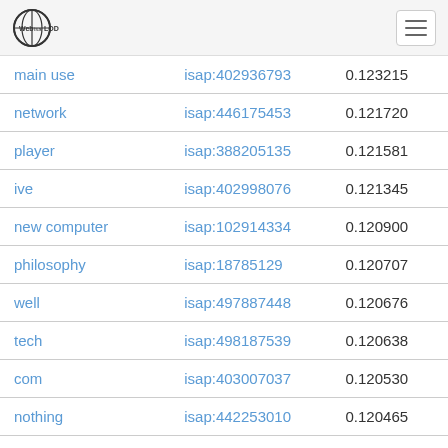Web isa LOD
| main use | isap:402936793 | 0.123215 |
| network | isap:446175453 | 0.121720 |
| player | isap:388205135 | 0.121581 |
| ive | isap:402998076 | 0.121345 |
| new computer | isap:102914334 | 0.120900 |
| philosophy | isap:18785129 | 0.120707 |
| well | isap:497887448 | 0.120676 |
| tech | isap:498187539 | 0.120638 |
| com | isap:403007037 | 0.120530 |
| nothing | isap:442253010 | 0.120465 |
| insult | isap:397169474 | 0.120296 |